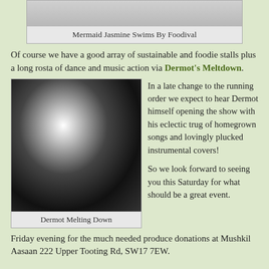[Figure (photo): Top portion of a photo of Mermaid Jasmine swimming, partially visible at top of page]
Mermaid Jasmine Swims By Foodival
Of course we have a good array of sustainable and foodie stalls plus a long rosta of dance and music action via Dermot's Meltdown.
[Figure (photo): Black and white photo of Dermot playing guitar, performing on stage]
Dermot Melting Down
In a late change to the running order we expect to hear Dermot himself opening the show with his eclectic trug of homegrown songs and lovingly plucked instrumental covers!

So we look forward to seeing you this Saturday for what should be a great event.
Friday evening for the much needed produce donations at Mushkil Aasaan 222 Upper Tooting Rd, SW17 7EW.